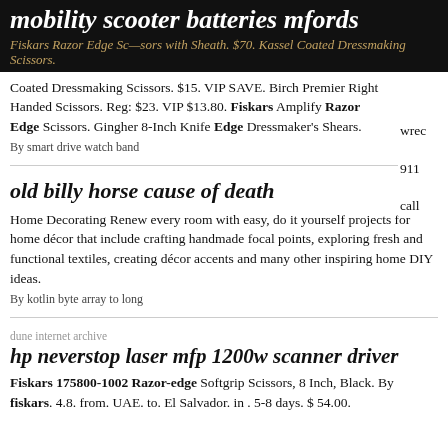mobility scooter batteries mfords
Fiskars Razor Edge Scissors with Sheath. $70. Kassel Coated Dressmaking Scissors.
Coated Dressmaking Scissors. $15. VIP SAVE. Birch Premier Right Handed Scissors. Reg: $23. VIP $13.80. Fiskars Amplify Razor Edge Scissors. Gingher 8-Inch Knife Edge Dressmaker's Shears.
By smart drive watch band
old billy horse cause of death
Home Decorating Renew every room with easy, do it yourself projects for home décor that include crafting handmade focal points, exploring fresh and functional textiles, creating décor accents and many other inspiring home DIY ideas.
By kotlin byte array to long
dune internet archive
hp neverstop laser mfp 1200w scanner driver
Fiskars 175800-1002 Razor-edge Softgrip Scissors, 8 Inch, Black. By fiskars. 4.8. from. UAE. to. El Salvador. in . 5-8 days. $ 54.00.